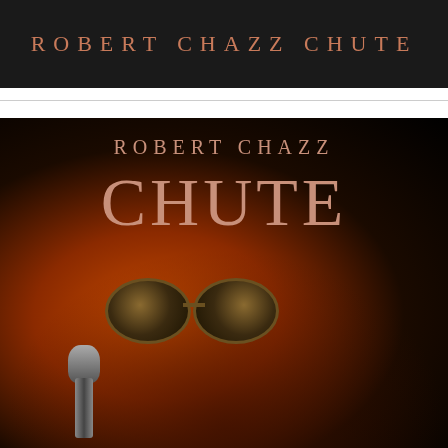[Figure (illustration): Top banner with dark background showing author name 'ROBERT CHAZZ CHUTE' in copper/salmon colored spaced letters]
[Figure (illustration): Book cover for Robert Chazz Chute featuring dark background with warm orange-red gradient. Text shows 'ROBERT CHAZZ' in medium copper letters and 'CHUTE' in large copper serif letters. Lower portion shows blurred figure of a person wearing aviator sunglasses and a microphone in foreground.]